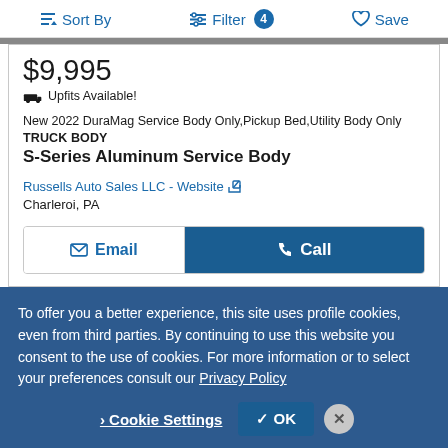Sort By   Filter 4   Save
$9,995
🚚 Upfits Available!
New 2022 DuraMag Service Body Only,Pickup Bed,Utility Body Only
TRUCK BODY
S-Series Aluminum Service Body
Russells Auto Sales LLC - Website
Charleroi, PA
Email   Call
To offer you a better experience, this site uses profile cookies, even from third parties. By continuing to use this website you consent to the use of cookies. For more information or to select your preferences consult our Privacy Policy
Cookie Settings   ✓ OK